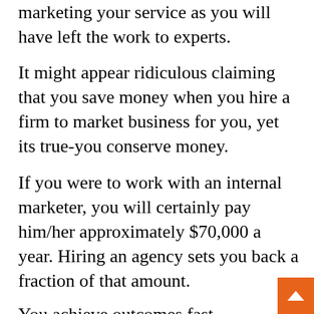marketing your service as you will have left the work to experts.
It might appear ridiculous claiming that you save money when you hire a firm to market business for you, yet its true-you conserve money.
If you were to work with an internal marketer, you will certainly pay him/her approximately $70,000 a year. Hiring an agency sets you back a fraction of that amount.
You achieve outcomes fast
When you are taking care of the marketing part of your service you most likely don't understand what works and what doesn't – you are betting as